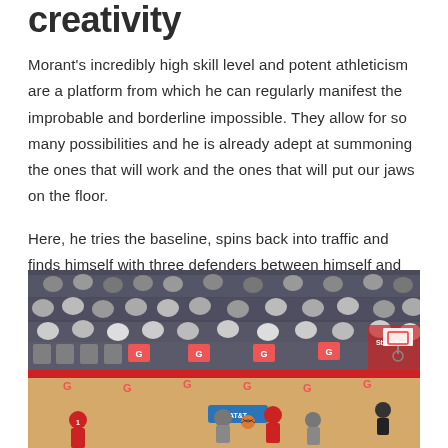creativity
Morant's incredibly high skill level and potent athleticism are a platform from which he can regularly manifest the improbable and borderline impossible. They allow for so many possibilities and he is already adept at summoning the ones that will work and the ones that will put our jaws on the floor.
Here, he tries the baseline, spins back into traffic and finds himself with three defenders between himself and the basket. If you looked at this moment...
[Figure (photo): NBA basketball game screenshot showing a player with the ball near the basket surrounded by three defenders, with spectators in stands and courtside area visible. Gatorade (G) branding visible on courtside coolers and State Farm advertisement on the right.]